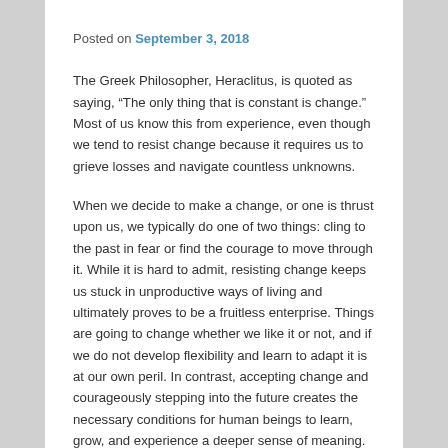Posted on September 3, 2018
The Greek Philosopher, Heraclitus, is quoted as saying, “The only thing that is constant is change.” Most of us know this from experience, even though we tend to resist change because it requires us to grieve losses and navigate countless unknowns.
When we decide to make a change, or one is thrust upon us, we typically do one of two things: cling to the past in fear or find the courage to move through it. While it is hard to admit, resisting change keeps us stuck in unproductive ways of living and ultimately proves to be a fruitless enterprise. Things are going to change whether we like it or not, and if we do not develop flexibility and learn to adapt it is at our own peril. In contrast, accepting change and courageously stepping into the future creates the necessary conditions for human beings to learn, grow, and experience a deeper sense of meaning.